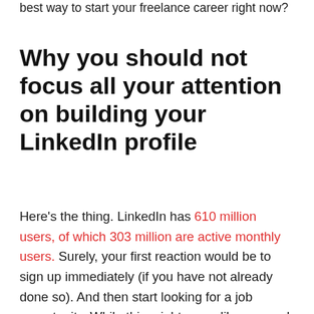best way to start your freelance career right now?
Why you should not focus all your attention on building your LinkedIn profile
Here's the thing. LinkedIn has 610 million users, of which 303 million are active monthly users. Surely, your first reaction would be to sign up immediately (if you have not already done so). And then start looking for a job opportunity. While this might seem like a sound judgement at the